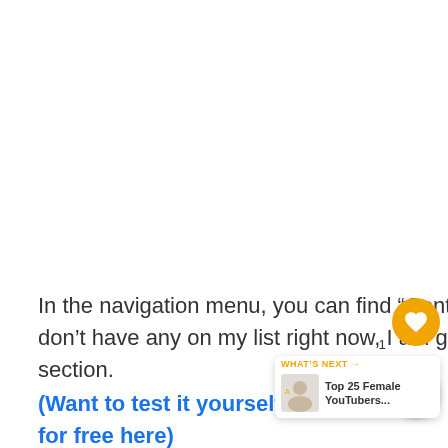In the navigation menu, you can find “Contact” and “Lists” options . Since I don't have any on my list right now, I am going to skip showing this section.
(Want to test it yourself? You can [link] for free here)
[Figure (screenshot): Heart (like) button in yellow/orange circle and a share button below it with a superscript 1, plus a WHAT'S NEXT widget showing Top 25 Female YouTubers...]